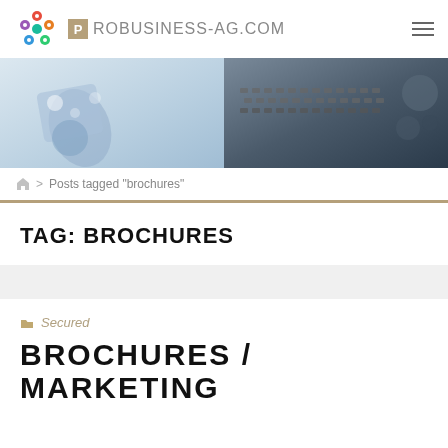PROBUSINESS-AG.COM
[Figure (photo): Banner image showing hands working with documents and a laptop keyboard, business theme, light blue and dark tones]
Posts tagged "brochures"
TAG: BROCHURES
Secured
BROCHURES / MARKETING